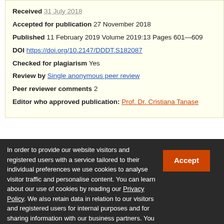Received 31 July 2018
Accepted for publication 27 November 2018
Published 11 February 2019 Volume 2019:13 Pages 601–609
DOI https://doi.org/10.2147/DDDT.S182087
Checked for plagiarism Yes
Review by Single anonymous peer review
Peer reviewer comments 2
Editor who approved publication: Prof. Dr. Cristiana Tanase
In order to provide our website visitors and registered users with a service tailored to their individual preferences we use cookies to analyse visitor traffic and personalise content. You can learn about our use of cookies by reading our Privacy Policy. We also retain data in relation to our visitors and registered users for internal purposes and for sharing information with our business partners. You can learn about what data of yours we retain, how it is processed, who it is shared with and your right to have your data deleted by reading our Privacy Policy. If you agree to our use of cookies and the contents of our Privacy Policy please click 'accept'.